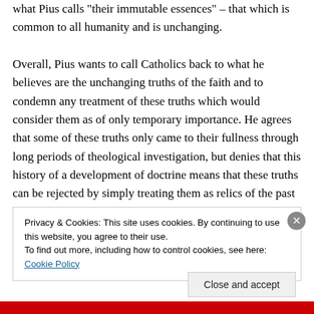what Pius calls "their immutable essences" – that which is common to all humanity and is unchanging.

Overall, Pius wants to call Catholics back to what he believes are the unchanging truths of the faith and to condemn any treatment of these truths which would consider them as of only temporary importance. He agrees that some of these truths only came to their fullness through long periods of theological investigation, but denies that this history of a development of doctrine means that these truths can be rejected by simply treating them as relics of the past or by simply considering "truth"
Privacy & Cookies: This site uses cookies. By continuing to use this website, you agree to their use.
To find out more, including how to control cookies, see here: Cookie Policy
Close and accept